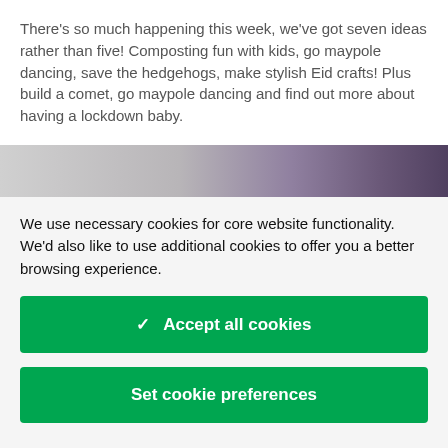There's so much happening this week, we've got seven ideas rather than five! Composting fun with kids, go maypole dancing, save the hedgehogs, make stylish Eid crafts! Plus build a comet, go maypole dancing and find out more about having a lockdown baby.
[Figure (photo): Partial image strip showing a blurred purple/dark object against a grey background]
We use necessary cookies for core website functionality. We'd also like to use additional cookies to offer you a better browsing experience.
✓ Accept all cookies
Set cookie preferences